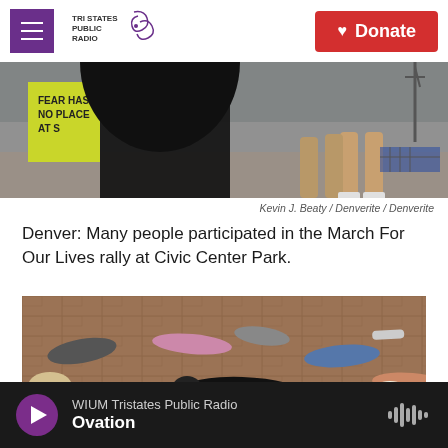Tri States Public Radio — Donate
[Figure (photo): Protest scene showing a person holding a yellow sign reading 'FEAR HAS NO PLACE AT S...' with dark silhouette in foreground and people's legs in background]
Kevin J. Beaty / Denverite / Denverite
Denver: Many people participated in the March For Our Lives rally at Civic Center Park.
[Figure (photo): People lying down on brick pavement in a die-in protest at the March For Our Lives rally, with a child in foreground out of focus]
WIUM Tristates Public Radio — Ovation